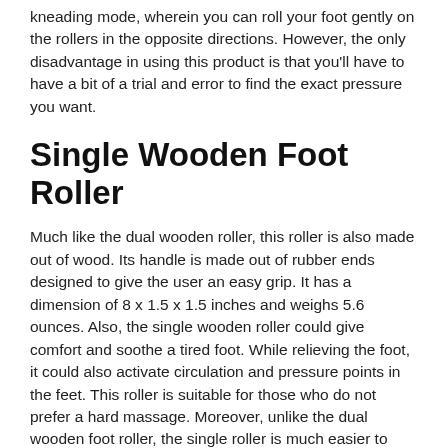kneading mode, wherein you can roll your foot gently on the rollers in the opposite directions. However, the only disadvantage in using this product is that you'll have to have a bit of a trial and error to find the exact pressure you want.
Single Wooden Foot Roller
Much like the dual wooden roller, this roller is also made out of wood. Its handle is made out of rubber ends designed to give the user an easy grip. It has a dimension of 8 x 1.5 x 1.5 inches and weighs 5.6 ounces. Also, the single wooden roller could give comfort and soothe a tired foot. While relieving the foot, it could also activate circulation and pressure points in the feet. This roller is suitable for those who do not prefer a hard massage. Moreover, unlike the dual wooden foot roller, the single roller is much easier to carry.  On the downside, it does not give comfort much like the dual wooden foot massager gives.